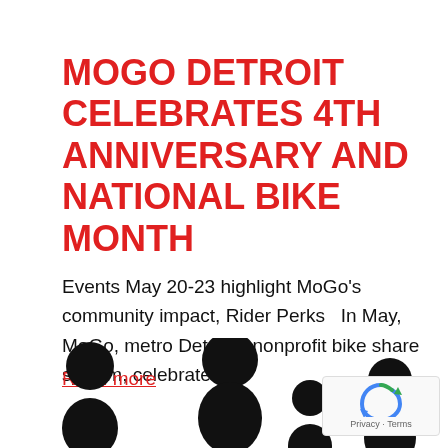MOGO DETROIT CELEBRATES 4TH ANNIVERSARY AND NATIONAL BIKE MONTH
Events May 20-23 highlight MoGo's community impact, Rider Perks   In May, MoGo, metro Detroit's nonprofit bike share system, celebrates…
Read more
[Figure (illustration): Silhouette figures of people (cyclists/pedestrians) shown at the bottom of the page in black]